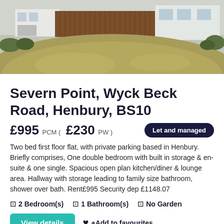[Figure (photo): Exterior photo of a residential flat with grass mound in foreground, wooden fence and white building visible]
Severn Point, Wyck Beck Road, Henbury, BS10
£995 PCM ( £230 PW ) Let and managed
Two bed first floor flat, with private parking based in Henbury. Briefly comprises, One double bedroom with built in storage & en-suite & one single. Spacious open plan kitchen/diner & lounge area. Hallway with storage leading to family size bathroom, shower over bath. Rent£995 Security dep £1148.07
2 Bedroom(s)  1 Bathroom(s)  No Garden
View details  +Add to favourites